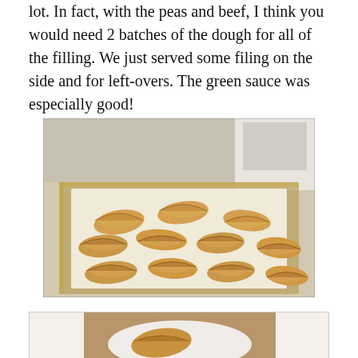lot. In fact, with the peas and beef, I think you would need 2 batches of the dough for all of the filling. We just served some filing on the side and for left-overs. The green sauce was especially good!
[Figure (photo): Photo of golden-brown empanadas arranged on a baking sheet lined with parchment paper, on a kitchen counter with appliances in the background.]
[Figure (photo): Partial photo of a plated dish, possibly an empanada on a white plate, visible at the very bottom of the page.]